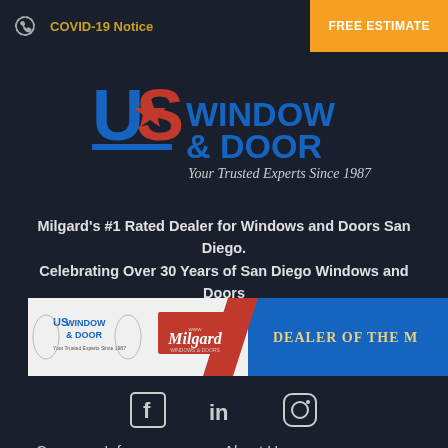COVID-19 Notice | FREE ESTIMATE
[Figure (logo): US Window & Door logo with star emblem and text 'Your Trusted Experts Since 1987']
Milgard's #1 Rated Dealer for Windows and Doors San Diego. Celebrating Over 30 Years of San Diego Windows and Doors
[Figure (photo): US Window & Door and Milgard Dealer of the Month banner]
[Figure (infographic): Social media icons: Facebook, LinkedIn, Instagram]
Company Info
About Us
Brands We Use
Blog
Contact Us